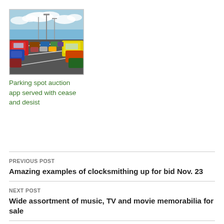[Figure (photo): Rows of colorful cars in a parking lot with street lights and blue sky with clouds]
Parking spot auction app served with cease and desist
PREVIOUS POST
Amazing examples of clocksmithing up for bid Nov. 23
NEXT POST
Wide assortment of music, TV and movie memorabilia for sale